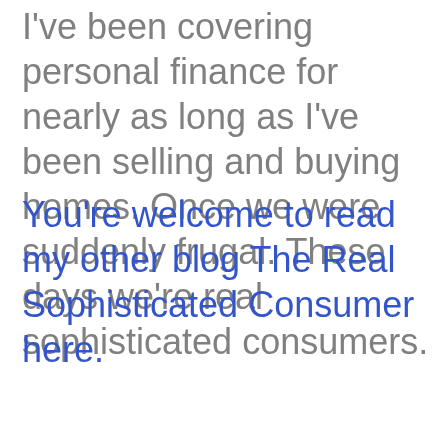I've been covering personal finance for nearly as long as I've been selling and buying homes. Once we were suddenly frugal. These days we're real sophisticated consumers.
You're welcome to read my other blog The Real Sophisticated Consumer here.